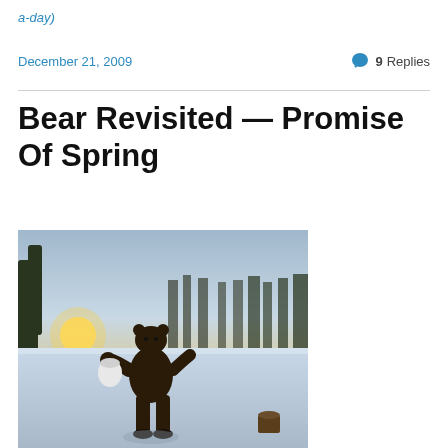a-day)
December 21, 2009
9 Replies
Bear Revisited — Promise Of Spring
[Figure (photo): A dark bear or animal figure standing upright on a snow-covered frozen surface, holding a white ball. Trees and a sunset glow visible in the background.]